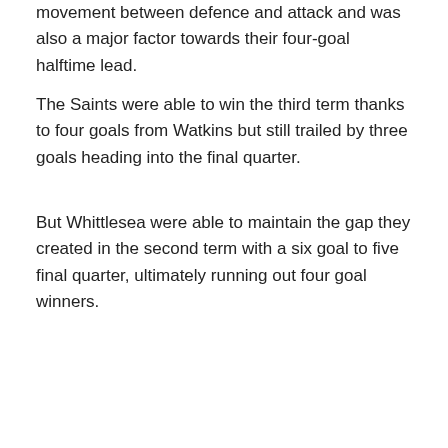movement between defence and attack and was also a major factor towards their four-goal halftime lead.
The Saints were able to win the third term thanks to four goals from Watkins but still trailed by three goals heading into the final quarter.
But Whittlesea were able to maintain the gap they created in the second term with a six goal to five final quarter, ultimately running out four goal winners.
The Eagles will look to make it four consecutive wins when they face South Morang 2 next week while Watsonia will want to bounce back when they take on the winless Macleod 2.
Related News
[Figure (photo): Football player in white and blue uniform, Melbourne Greyhounds related news image]
Melbourne Greyhounds Division 1 Preview – Round 18
Following an extraordinary weekend where Round 17 was declared null and void, the final